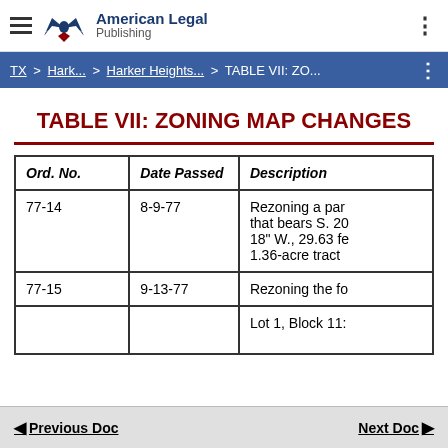American Legal Publishing
TX > Hark... > Harker Heights... > TABLE VII: ZO...
TABLE VII: ZONING MAP CHANGES
| Ord. No. | Date Passed | Description |
| --- | --- | --- |
| 77-14 | 8-9-77 | Rezoning a par that bears S. 20 18" W., 29.63 fe 1.36-acre tract |
| 77-15 | 9-13-77 | Rezoning the fo |
|  |  | Lot 1, Block 11: |
Previous Doc   Next Doc